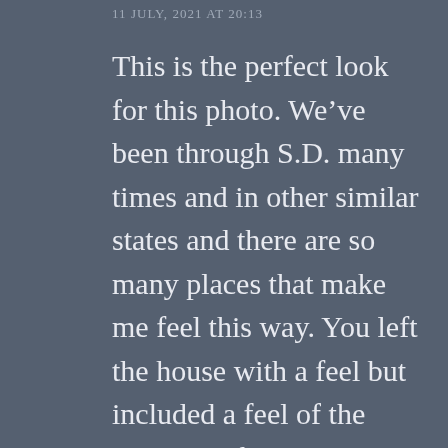11 JULY, 2021 AT 20:13
This is the perfect look for this photo. We've been through S.D. many times and in other similar states and there are so many places that make me feel this way. You left the house with a feel but included a feel of the vastness of the prairie as well. Well done!